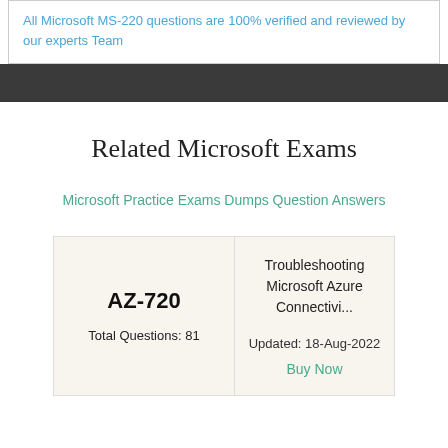All Microsoft MS-220 questions are 100% verified and reviewed by our experts Team
Related Microsoft Exams
Microsoft Practice Exams Dumps Question Answers
| Exam | Details |
| --- | --- |
| AZ-720
Total Questions: 81 | Troubleshooting Microsoft Azure Connectivi...
Updated: 18-Aug-2022
Buy Now |